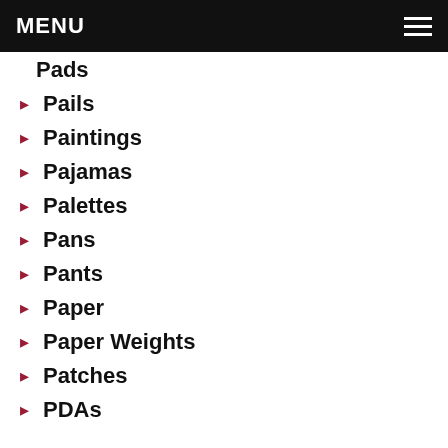MENU
Pads
Pails
Paintings
Pajamas
Palettes
Pans
Pants
Paper
Paper Weights
Patches
PDAs